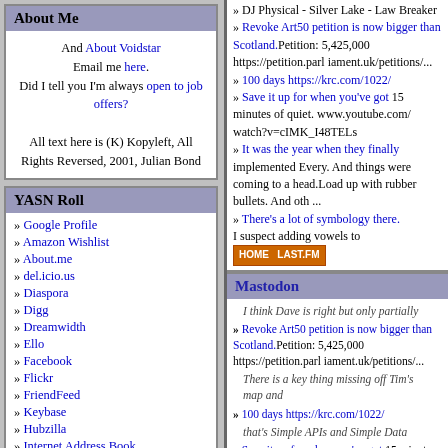About Me
And About Voidstar
Email me here.
Did I tell you I'm always open to job offers?

All text here is (K) Kopyleft, All Rights Reversed, 2001, Julian Bond
YASN Roll
Google Profile
Amazon Wishlist
About.me
del.icio.us
Diaspora
Digg
Dreamwidth
Ello
Facebook
Flickr
FriendFeed
Keybase
Hubzilla
Internet Address Book
» DJ Physical - Silver Lake - Law Breaker
» Revoke Art50 petition is now bigger than Scotland. Petition: 5,495,000 https://petition.parliament.uk/petitions/...
» 100 days https://krc.com/1022/
» Save it up for when you've got 15 minutes of quiet. https://www.youtube.com/watch?v=cIMK_I48TELs
» It was the year when they finally implemented Every. And things were coming to a head. Load up with rubber bullets. And oth ...
Mastodon
I think Dave is right but only partially
There is a key thing missing off Tim's map and that's Simple APIs and Simple Data formats.
All the best work in Web 2.0 is being done with ReST API, calls instead of Every. simple XML and often RSS. If there's a choice between ReST I suspect adding vowels to
» Revoke Art50 petition is now bigger than Scotland.Petition: 5,425,000 https://petition.parl iament.uk/petitions/...
» 1100 days https://krc.com/1022/
» Save it up for when you've got 15 minutes of quiet www.youtube.com/watch?v=cIMK_I48TELs
» It was the year when they finally implemented Every. And things were coming to a head.Load up with rubber bullets. And oth ...
» There's a lot of symbology there. I suspect adding vowels to